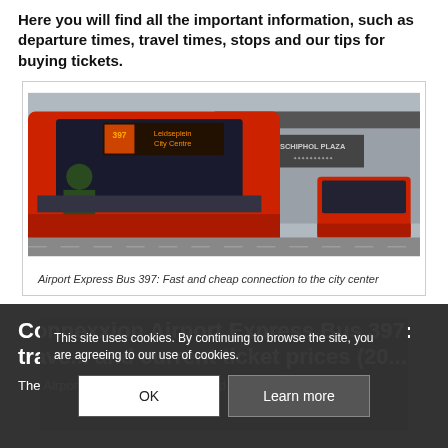Here you will find all the important information, such as departure times, travel times, stops and our tips for buying tickets.
[Figure (photo): Red airport express bus at Schiphol Plaza with 'Leidseplein City Centre' on the display, another red bus visible in background]
Airport Express Bus 397: Fast and cheap connection to the city center
Connexxion Airport Express Bus 397: travel times, stops and current ticket prices (20...
The Airport Express Bus is operated by the Dutch public
This site uses cookies. By continuing to browse the site, you are agreeing to our use of cookies.